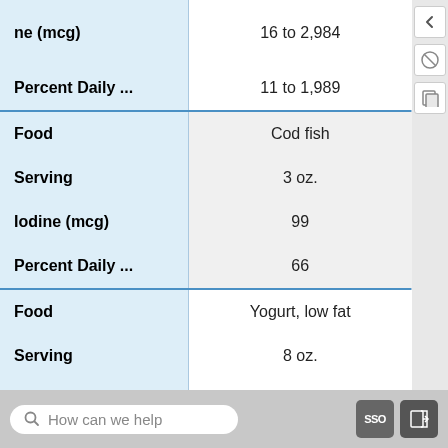| Field | Value |
| --- | --- |
| Iodine (mcg) | 16 to 2,984 |
| Percent Daily ... | 11 to 1,989 |
| Food | Cod fish |
| Serving | 3 oz. |
| Iodine (mcg) | 99 |
| Percent Daily ... | 66 |
| Food | Yogurt, low fat |
| Serving | 8 oz. |
| Iodine (mcg) | 75 |
| Percent Daily ... | 50 |
How can we help